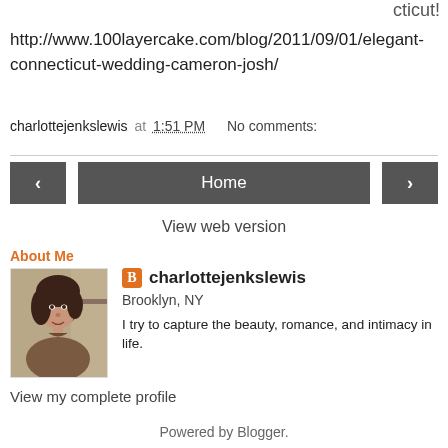cticut!
http://www.100layercake.com/blog/2011/09/01/elegant-connecticut-wedding-cameron-josh/
charlottejenkslewis at 1:51 PM   No comments:
Home
View web version
About Me
[Figure (photo): Profile photo of charlottejenkslewis, a woman with short curly dark hair wearing a brown top]
charlottejenkslewis
Brooklyn, NY
I try to capture the beauty, romance, and intimacy in life.
View my complete profile
Powered by Blogger.